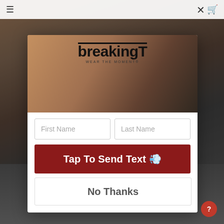[Figure (screenshot): Website screenshot showing a modal popup overlay on a sports apparel website (BreakingT). Background shows a photo of a person making an intense expression. The modal contains the BreakingT logo, a 10% off offer headline, first/last name input fields, a red 'Tap To Send Text' button, and a 'No Thanks' button.]
breakingT
WEAR THE MOMENT®
Ready for 10% OFF?
First Name
Last Name
Tap To Send Text 🗨
No Thanks